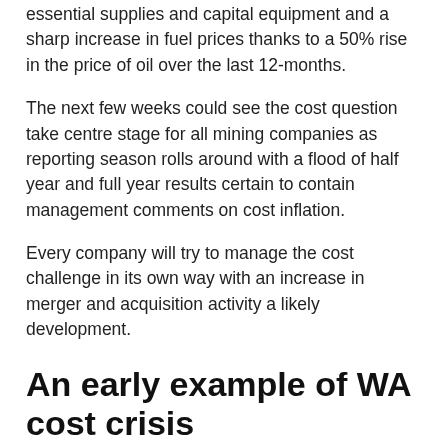essential supplies and capital equipment and a sharp increase in fuel prices thanks to a 50% rise in the price of oil over the last 12-months.
The next few weeks could see the cost question take centre stage for all mining companies as reporting season rolls around with a flood of half year and full year results certain to contain management comments on cost inflation.
Every company will try to manage the cost challenge in its own way with an increase in merger and acquisition activity a likely development.
An early example of WA cost crisis
Bardoc Gold (ASX: BDC) was an early example of the cost crisis in WA, one of Australia's premier mining regions, where closed borders and an acute shortage of skilled